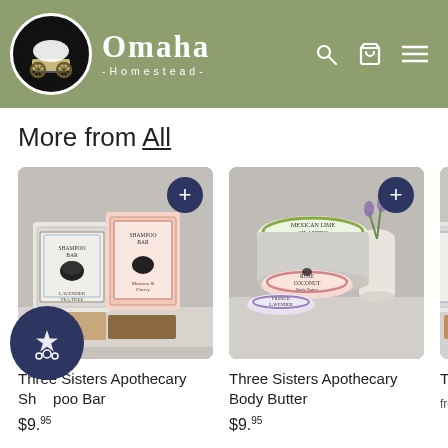Omaha Homestead
More from All
[Figure (photo): Three Sisters Apothecary Shampoo Bar product photo showing multiple soap bars with decorative labels]
Three Sisters Apothecary Shampoo Bar
$9.95
[Figure (photo): Three Sisters Apothecary Body Butter product photo showing tin containers with decorative labels]
Three Sisters Apothecary Body Butter
$9.95
[Figure (photo): Three Sisters Apothecary Conditioner partial product photo]
Three Sisters Apothecary Conditioner
from $5